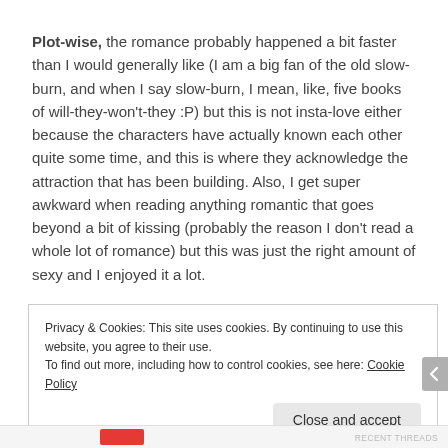Plot-wise, the romance probably happened a bit faster than I would generally like (I am a big fan of the old slow-burn, and when I say slow-burn, I mean, like, five books of will-they-won't-they :P) but this is not insta-love either because the characters have actually known each other quite some time, and this is where they acknowledge the attraction that has been building. Also, I get super awkward when reading anything romantic that goes beyond a bit of kissing (probably the reason I don't read a whole lot of romance) but this was just the right amount of sexy and I enjoyed it a lot.
Privacy & Cookies: This site uses cookies. By continuing to use this website, you agree to their use. To find out more, including how to control cookies, see here: Cookie Policy